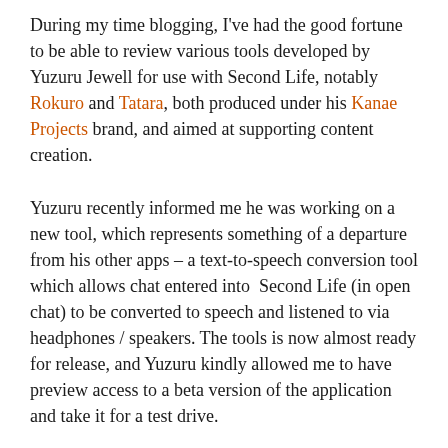During my time blogging, I've had the good fortune to be able to review various tools developed by Yuzuru Jewell for use with Second Life, notably Rokuro and Tatara, both produced under his Kanae Projects brand, and aimed at supporting content creation.
Yuzuru recently informed me he was working on a new tool, which represents something of a departure from his other apps – a text-to-speech conversion tool which allows chat entered into  Second Life (in open chat) to be converted to speech and listened to via headphones / speakers. The tools is now almost ready for release, and Yuzuru kindly allowed me to have preview access to a beta version of the application and take it for a test drive.
The app, Idobata Pro, will be available for both Windows 7 32-bit and 64-bit as a ZIP download.